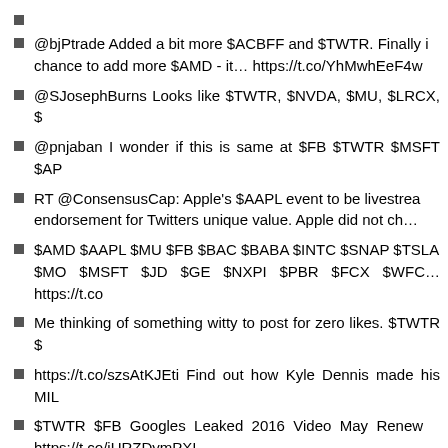@bjPtrade Added a bit more $ACBFF and $TWTR. Finally i chance to add more $AMD - it… https://t.co/YhMwhEeF4w
@SJosephBurns Looks like $TWTR, $NVDA, $MU, $LRCX, $
@pnjaban I wonder if this is same at $FB $TWTR $MSFT $AP
RT @ConsensusCap: Apple's $AAPL event to be livestrea endorsement for Twitters unique value. Apple did not ch…
$AMD $AAPL $MU $FB $BAC $BABA $INTC $SNAP $TSLA $MO $MSFT $JD $GE $NXPI $PBR $FCX $WFC… https://t.co
Me thinking of something witty to post for zero likes. $TWTR $
https://t.co/szsAtKJEti Find out how Kyle Dennis made his MIL
$TWTR $FB Googles Leaked 2016 Video May Renew https://t.co/jURZDymPXI
RT @TradeIdeas1: $FB $TWTR $GOOGL guys..... uncle #Qa a special [[[BOOT UP]]] system just specifically des…